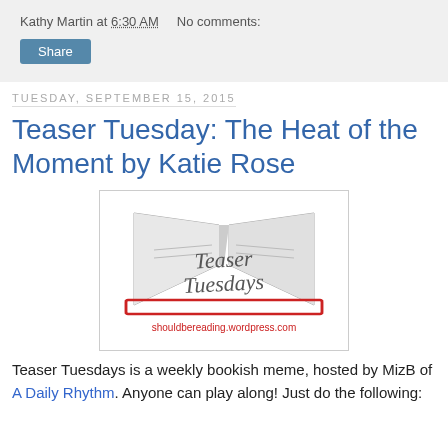Kathy Martin at 6:30 AM   No comments:
Share
Tuesday, September 15, 2015
Teaser Tuesday: The Heat of the Moment by Katie Rose
[Figure (logo): Teaser Tuesdays logo with open book graphic and shouldbereading.wordpress.com URL]
Teaser Tuesdays is a weekly bookish meme, hosted by MizB of A Daily Rhythm. Anyone can play along! Just do the following: